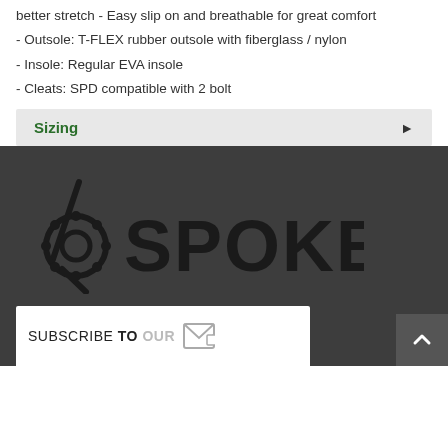better stretch - Easy slip on and breathable for great comfort
- Outsole: T-FLEX rubber outsole with fiberglass / nylon
- Insole: Regular EVA insole
- Cleats: SPD compatible with 2 bolt
Sizing
[Figure (logo): 6 Spokes cycling shop logo with gear/wheel icon and diagonal line]
SUBSCRIBE TO OUR